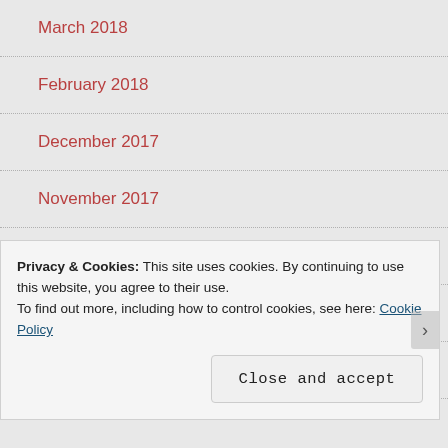March 2018
February 2018
December 2017
November 2017
October 2017
September 2017
August 2017
Privacy & Cookies: This site uses cookies. By continuing to use this website, you agree to their use.
To find out more, including how to control cookies, see here: Cookie Policy